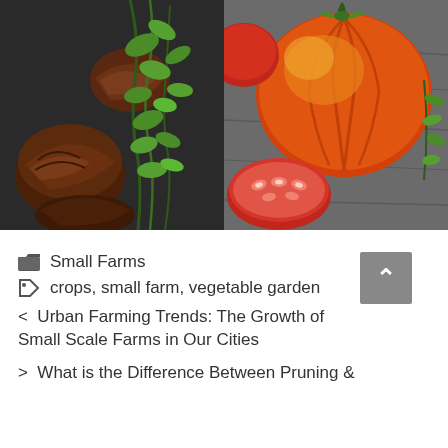[Figure (photo): Two food photos side by side: left shows dried shiitake mushrooms with fresh cilantro/herbs on dark background; right shows heirloom tomatoes (whole and sliced) on wooden surface]
Small Farms
crops, small farm, vegetable garden
< Urban Farming Trends: The Growth of Small Scale Farms in Our Cities
> What is the Difference Between Pruning &